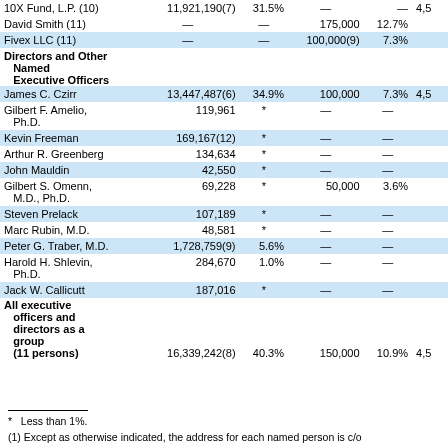| Name | Common Shares | % | Series B Preferred | % | Series C |
| --- | --- | --- | --- | --- | --- |
| 10X Fund, L.P. (10) | 11,921,190(7) | 31.5% | — | — | 4,5 |
| David Smith (11) | — | — | 175,000 | 12.7% |  |
| Fivex LLC (11) | — | — | 100,000(9) | 7.3% |  |
| Directors and Other Named Executive Officers |  |  |  |  |  |
| James C. Czirr | 13,447,487(6) | 34.9% | 100,000 | 7.3% | 4,5 |
| Gilbert F. Amelio, Ph.D. | 119,961 | * | — | — |  |
| Kevin Freeman | 169,167(12) | * | — | — |  |
| Arthur R. Greenberg | 134,634 | * | — | — |  |
| John Mauldin | 42,550 | * | — | — |  |
| Gilbert S. Omenn, M.D., Ph.D. | 69,228 | * | 50,000 | 3.6% |  |
| Steven Prelack | 107,189 | * | — | — |  |
| Marc Rubin, M.D. | 48,581 | * | — | — |  |
| Peter G. Traber, M.D. | 1,728,759(9) | 5.6% | — | — |  |
| Harold H. Shlevin, Ph.D. | 284,670 | 1.0% | — | — |  |
| Jack W. Callicutt | 187,016 | * | — | — |  |
| All executive officers and directors as a group (11 persons) | 16,339,242(8) | 40.3% | 150,000 | 10.9% | 4,5 |
* Less than 1%.
(1) Except as otherwise indicated, the address for each named person is c/o